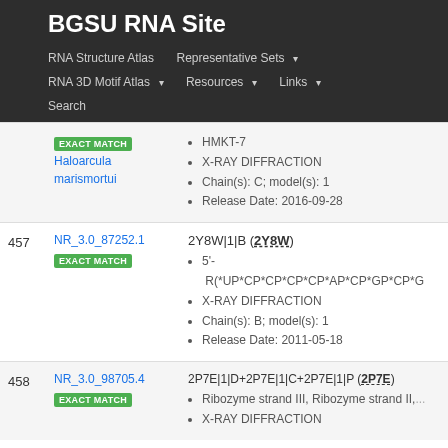BGSU RNA Site
RNA Structure Atlas | Representative Sets | RNA 3D Motif Atlas | Resources | Links | Search
| # | ID | Details |
| --- | --- | --- |
|  | NR_3.0_... EXACT MATCH Haloarcula marismortui | HMKT-7 • X-RAY DIFFRACTION • Chain(s): C; model(s): 1 • Release Date: 2016-09-28 |
| 457 | NR_3.0_87252.1 EXACT MATCH | 2Y8W|1|B (2Y8W) • 5'- R(*UP*CP*CP*CP*CP*AP*CP*GP*CP*G • X-RAY DIFFRACTION • Chain(s): B; model(s): 1 • Release Date: 2011-05-18 |
| 458 | NR_3.0_98705.4 EXACT MATCH | 2P7E|1|D+2P7E|1|C+2P7E|1|P (2P7E) • Ribozyme strand III, Ribozyme strand II, ... • X-RAY DIFFRACTION |